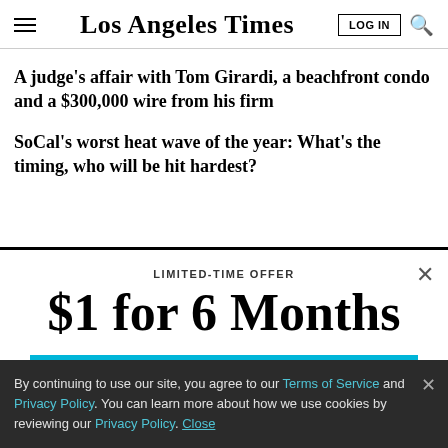Los Angeles Times
A judge’s affair with Tom Girardi, a beachfront condo and a $300,000 wire from his firm
SoCal’s worst heat wave of the year: What’s the timing, who will be hit hardest?
LIMITED-TIME OFFER
$1 for 6 Months
SUBSCRIBE NOW
By continuing to use our site, you agree to our Terms of Service and Privacy Policy. You can learn more about how we use cookies by reviewing our Privacy Policy. Close